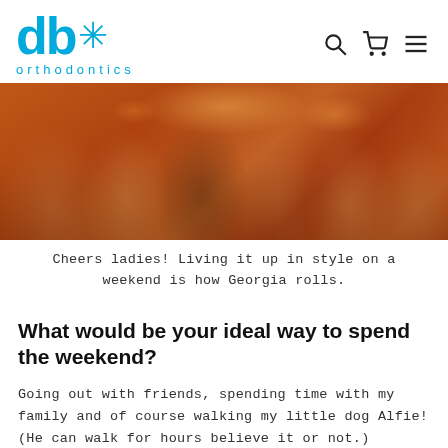db* orthodontics [logo with search, cart, menu icons]
[Figure (photo): Group of women smiling and holding drinks at a bar/restaurant with warm lighting]
Cheers ladies! Living it up in style on a weekend is how Georgia rolls.
What would be your ideal way to spend the weekend?
Going out with friends, spending time with my family and of course walking my little dog Alfie! (He can walk for hours believe it or not.)
[Figure (photo): Partial view of another photo at the bottom of the page]